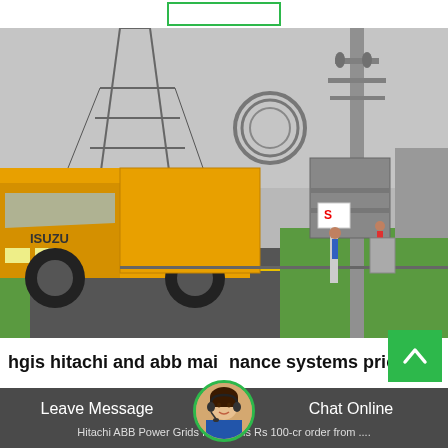[Figure (photo): Electrical substation with high-voltage transmission towers, steel poles, yellow Isuzu truck on road, workers visible, green lawn area, overcast sky]
hgis hitachi and abb maintenance systems price
Leave Message
Chat Online
Hitachi ABB Power Grids India wins Rs 100-cr order from ....